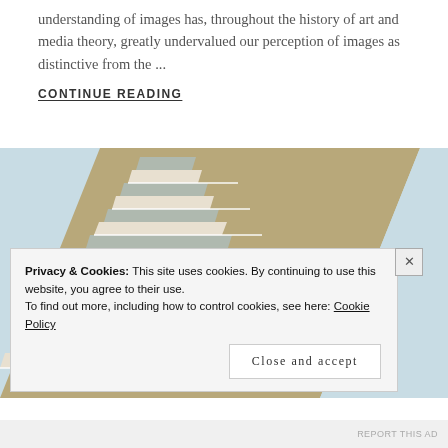understanding of images has, throughout the history of art and media theory, greatly undervalued our perception of images as distinctive from the ...
CONTINUE READING
[Figure (photo): Upward-angle photograph of a modern multi-story building facade showing repeating horizontal floors with tan/beige cladding and large windows, against a light blue sky.]
Privacy & Cookies: This site uses cookies. By continuing to use this website, you agree to their use. To find out more, including how to control cookies, see here: Cookie Policy
Close and accept
REPORT THIS AD